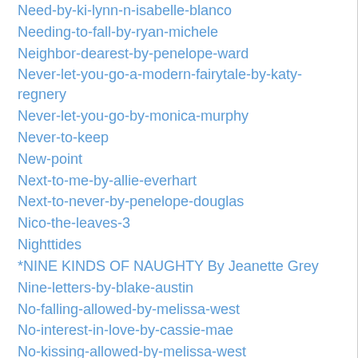Need-by-ki-lynn-n-isabelle-blanco
Needing-to-fall-by-ryan-michele
Neighbor-dearest-by-penelope-ward
Never-let-you-go-a-modern-fairytale-by-katy-regnery
Never-let-you-go-by-monica-murphy
Never-to-keep
New-point
Next-to-me-by-allie-everhart
Next-to-never-by-penelope-douglas
Nico-the-leaves-3
Nighttides
*NINE KINDS OF NAUGHTY By Jeanette Grey
Nine-letters-by-blake-austin
No-falling-allowed-by-melissa-west
No-interest-in-love-by-cassie-mae
No-kissing-allowed-by-melissa-west
*Not Her By Julia Bright
Not Love By Vi Keeland
*No Tomorrow By Carian Cole
Not-over
Nova-and-quinton-no-regrets-by-jessica-sorensen
November-nine-by-colleen-hoover